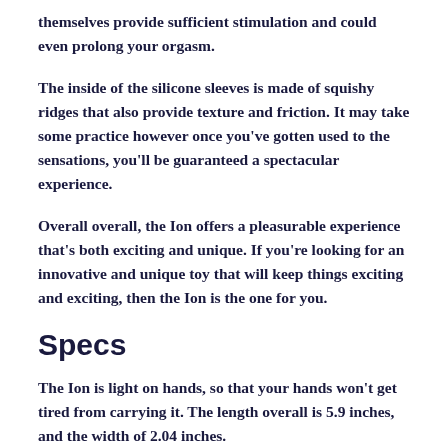themselves provide sufficient stimulation and could even prolong your orgasm.
The inside of the silicone sleeves is made of squishy ridges that also provide texture and friction. It may take some practice however once you've gotten used to the sensations, you'll be guaranteed a spectacular experience.
Overall overall, the Ion offers a pleasurable experience that's both exciting and unique. If you're looking for an innovative and unique toy that will keep things exciting and exciting, then the Ion is the one for you.
Specs
The Ion is light on hands, so that your hands won't get tired from carrying it. The length overall is 5.9 inches, and the width of 2.04 inches.